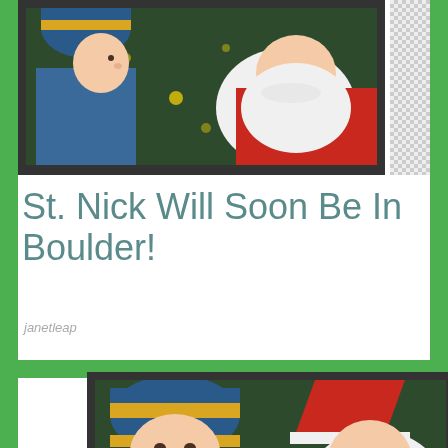[Figure (photo): A young boy in a blue and yellow striped knit hat looking up at Santa Claus, with a Christmas tree in the background. Dark border frame.]
St. Nick Will Soon Be In Boulder!
janetleap
[Figure (photo): A young boy in a blue and yellow striped knit hat looking at Santa Claus who is wearing a red hat. Christmas tree bokeh lights in background. Dark border frame.]